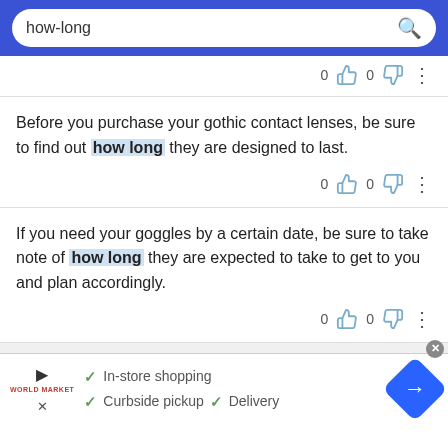how-long [search bar]
Before you purchase your gothic contact lenses, be sure to find out how long they are designed to last.
If you need your goggles by a certain date, be sure to take note of how long they are expected to take to get to you and plan accordingly.
[Figure (screenshot): Advertisement banner with play button, World Market brand logo, checkmarks for In-store shopping, Curbside pickup, Delivery, and a blue diamond arrow icon]